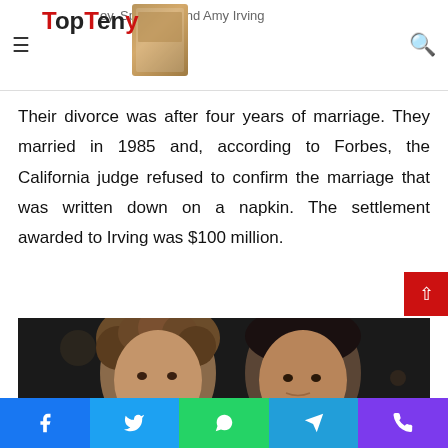TopTeny — Steven Spielberg and Amy Irving
Their divorce was after four years of marriage. They married in 1985 and, according to Forbes, the California judge refused to confirm the marriage that was written down on a napkin. The settlement awarded to Irving was $100 million.
[Figure (photo): Photo of a couple (Amy Irving and Steven Spielberg) at an event, dark background]
Social share buttons: Facebook, Twitter, WhatsApp, Telegram, Phone